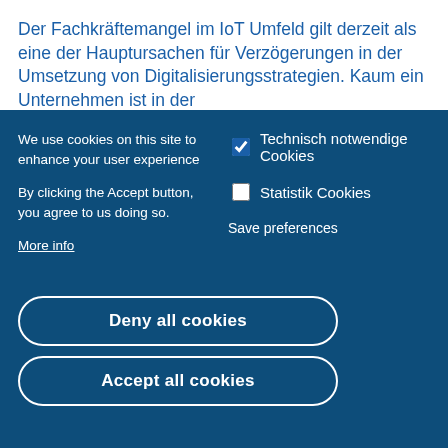Der Fachkräftemangel im IoT Umfeld gilt derzeit als eine der Hauptursachen für Verzögerungen in der Umsetzung von Digitalisierungsstrategien. Kaum ein Unternehmen ist in der
We use cookies on this site to enhance your user experience
By clicking the Accept button, you agree to us doing so.
More info
Technisch notwendige Cookies
Statistik Cookies
Save preferences
Deny all cookies
Accept all cookies